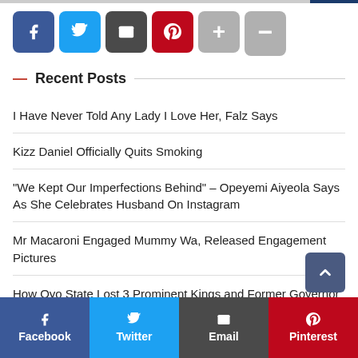[Figure (other): Social share buttons row: Facebook (blue), Twitter (light blue), Email (dark gray), Pinterest (red), plus (gray), minus (gray)]
— Recent Posts
I Have Never Told Any Lady I Love Her, Falz Says
Kizz Daniel Officially Quits Smoking
“We Kept Our Imperfections Behind” – Opeyemi Aiyeola Says As She Celebrates Husband On Instagram
Mr Macaroni Engaged Mummy Wa, Released Engagement Pictures
How Oyo State Lost 3 Prominent Kings and Former Governor in 5 Months
[Figure (other): Bottom social share bar with Facebook, Twitter, Email, Pinterest buttons]